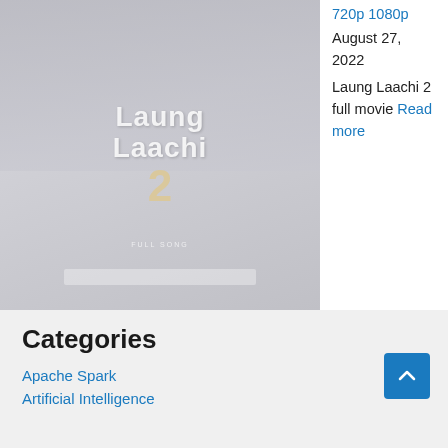[Figure (photo): Movie poster for Laung Laachi 2 showing people in background and stylized text with a large number 2]
720p 1080p
August 27, 2022
Laung Laachi 2 full movie Read more
Categories
Apache Spark
Artificial Intelligence